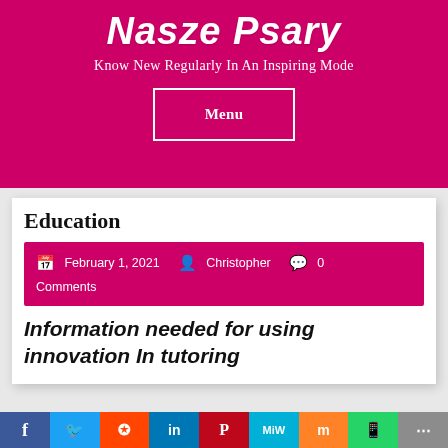Nasze Psary
Know New Regularly In An Inspiring Mode
Menu
Education
February 1, 2021  Christopher  0 Comments
Information needed for using innovation In tutoring